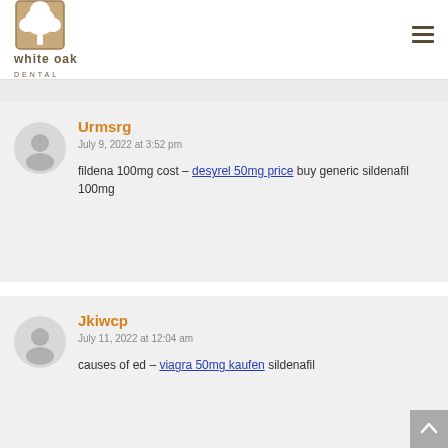white oak DENTAL
Urmsrg
July 9, 2022 at 3:52 pm
fildena 100mg cost – desyrel 50mg price buy generic sildenafil 100mg
Jkiwcp
July 11, 2022 at 12:04 am
causes of ed – viagra 50mg kaufen sildenafil